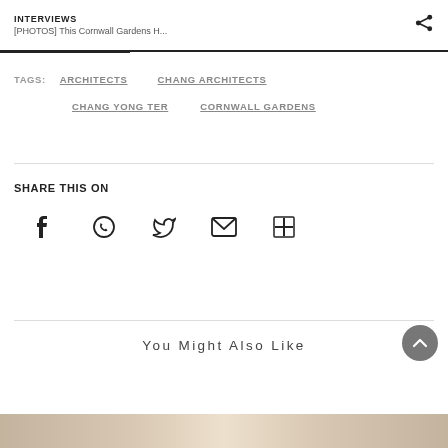INTERVIEWS
[PHOTOS] This Cornwall Gardens H...
TAGS: ARCHITECTS   CHANG ARCHITECTS   CHANG YONG TER   CORNWALL GARDENS
SHARE THIS ON
[Figure (infographic): Social share icons: Facebook, WhatsApp, Twitter, Email, More]
You Might Also Like
[Figure (photo): Bottom strip showing a partial interior photo]